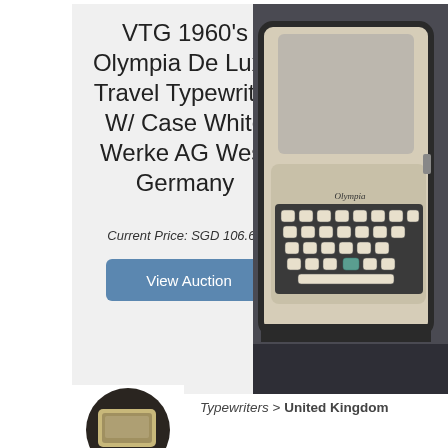VTG 1960's Olympia De Luxe Travel Typewriter W/ Case White Werke AG West Germany
Current Price: SGD 106.67
View Auction
[Figure (photo): Photograph of a vintage Olympia De Luxe travel typewriter in a case, cream/white colored with keyboard visible, set on a dark surface]
[Figure (photo): Small circular thumbnail image of what appears to be another vintage typewriter or device]
Typewriters > United Kingdom